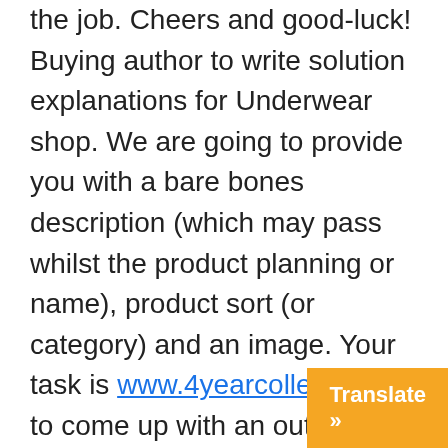the job. Cheers and good-luck! Buying author to write solution explanations for Underwear shop. We are going to provide you with a bare bones description (which may pass whilst the product planning or name), product sort (or category) and an image. Your task is www.4yearcolleges.net/ to come up with an outline good enough to become placed on Amazon or eBay, as well as our own online shop. 25 items will be started with by us, of course, if all moves nicely more will follow. Hourly – Intermediate – Est. Time: significantly less 10-30 hrs/ week, than 7 days – Published Article content writer At our corporation we assist designers that are rising, promoting their creations.